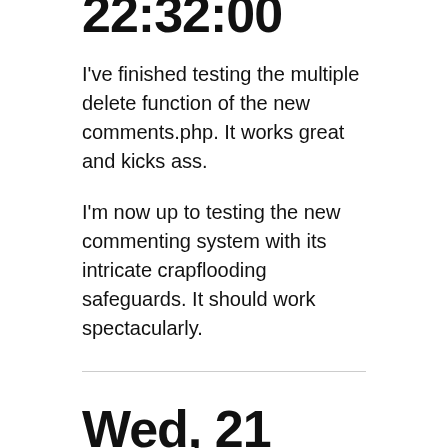22:32:00
I've finished testing the multiple delete function of the new comments.php. It works great and kicks ass.
I'm now up to testing the new commenting system with its intricate crapflooding safeguards. It should work spectacularly.
Wed, 21 Dec 2005 22:29:00
It's time I finished beta testing v3.7. I've been lagging this whole time. The new commenting system with flooding prevention is now being beta tested. It should